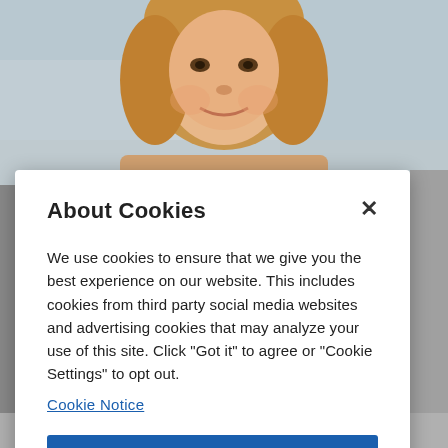[Figure (photo): Background photo of a smiling woman with blonde/auburn hair, photographed outdoors with a blurred building/pathway background.]
About Cookies
We use cookies to ensure that we give you the best experience on our website. This includes cookies from third party social media websites and advertising cookies that may analyze your use of this site. Click "Got it" to agree or "Cookie Settings" to opt out.
Cookie Notice
Got It
Cookies Settings